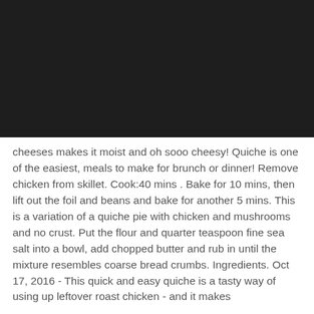[Figure (photo): Dark/black image area at top of page, possibly a food photo that is very dark or underexposed.]
cheeses makes it moist and oh sooo cheesy! Quiche is one of the easiest, meals to make for brunch or dinner! Remove chicken from skillet. Cook:40 mins . Bake for 10 mins, then lift out the foil and beans and bake for another 5 mins. This is a variation of a quiche pie with chicken and mushrooms and no crust. Put the flour and quarter teaspoon fine sea salt into a bowl, add chopped butter and rub in until the mixture resembles coarse bread crumbs. Ingredients. Oct 17, 2016 - This quick and easy quiche is a tasty way of using up leftover roast chicken - and it makes